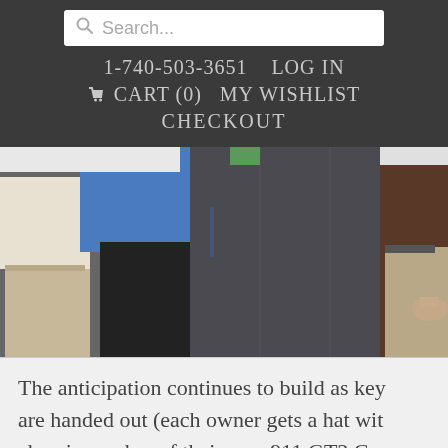Search... | 1-740-503-3651 | LOG IN | CART (0) | MY WISHLIST | CHECKOUT
[Figure (photo): People standing, visible from waist down — one in blue shirt and dark pants, one in khaki pants with hands clasped, one in white shirt on left edge]
The anticipation continues to build as key are handed out (each owner gets a hat with chassis number of their new 911 GT3 Cup embroidered on it).